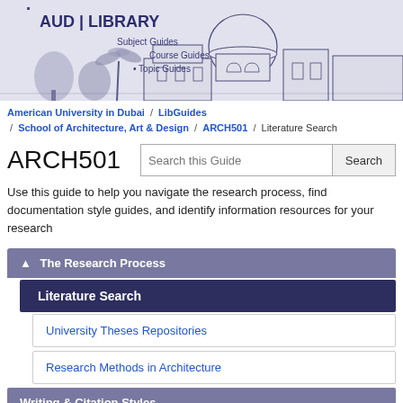[Figure (illustration): AUD Library header banner with building illustration, Subject Guides, Course Guides, Topic Guides text and AUD|LIBRARY logo]
American University in Dubai / LibGuides / School of Architecture, Art & Design / ARCH501 / Literature Search
ARCH501
Use this guide to help you navigate the research process, find documentation style guides, and identify information resources for your research
The Research Process
Literature Search
University Theses Repositories
Research Methods in Architecture
Writing & Citation Styles